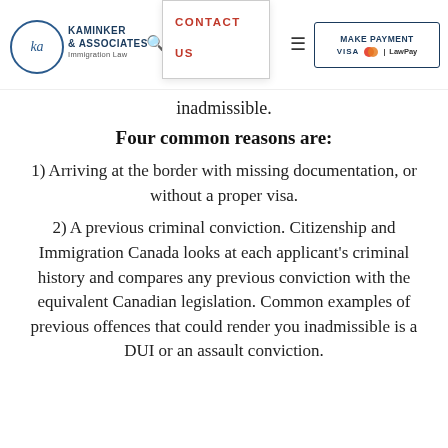Kaminker & Associates Immigration Law — Contact Us | Make Payment
inadmissible.
Four common reasons are:
1) Arriving at the border with missing documentation, or without a proper visa.
2) A previous criminal conviction. Citizenship and Immigration Canada looks at each applicant's criminal history and compares any previous conviction with the equivalent Canadian legislation. Common examples of previous offences that could render you inadmissible is a DUI or an assault conviction.